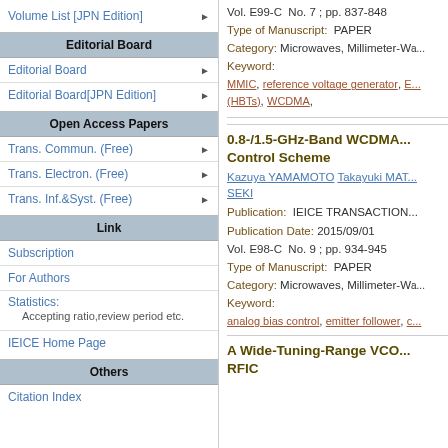Volume List [JPN Edition]
Editorial Board
Editorial Board
Editorial Board[JPN Edition]
Open Access Papers
Trans. Commun. (Free)
Trans. Electron. (Free)
Trans. Inf.&Syst. (Free)
Link
Subscription
For Authors
Statistics:
Accepting ratio,review period etc.
IEICE Home Page
Others
Citation Index
Vol. E99-C  No. 7 ; pp. 837-848
Type of Manuscript:  PAPER
Category: Microwaves, Millimeter-Wa...
Keyword:
MMIC, reference voltage generator, E... (HBTs), WCDMA,
0.8-/1.5-GHz-Band WCDMA... Control Scheme
Kazuya YAMAMOTO Takayuki MAT... SEKI
Publication:  IEICE TRANSACTION...
Publication Date: 2015/09/01
Vol. E98-C  No. 9 ; pp. 934-945
Type of Manuscript:  PAPER
Category: Microwaves, Millimeter-Wa...
Keyword:
analog bias control, emitter follower, c...
A Wide-Tuning-Range VCO... RFIC